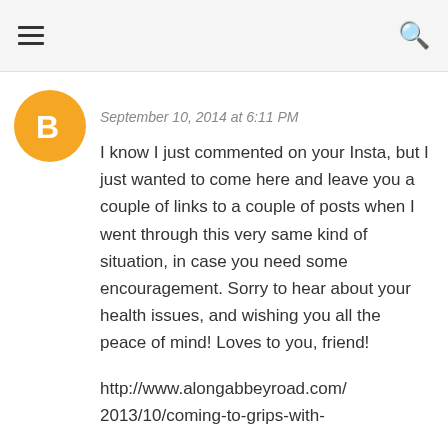≡  🔍
[Figure (illustration): Orange circular Blogger avatar icon with a white 'B' letter in the center]
September 10, 2014 at 6:11 PM
I know I just commented on your Insta, but I just wanted to come here and leave you a couple of links to a couple of posts when I went through this very same kind of situation, in case you need some encouragement. Sorry to hear about your health issues, and wishing you all the peace of mind! Loves to you, friend!
http://www.alongabbeyroad.com/2013/10/coming-to-grips-with-